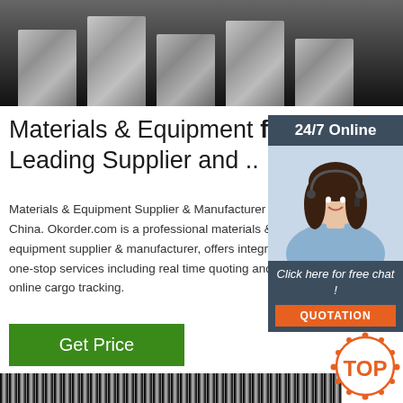[Figure (photo): Close-up photo of stacked metal bars or ingots on dark background]
Materials & Equipment from Leading Supplier and ..
Materials & Equipment Supplier & Manufacturer from China. Okorder.com is a professional materials & equipment supplier & manufacturer, offers integrated one-stop services including real time quoting and online cargo tracking.
[Figure (photo): Woman wearing headset smiling, representing 24/7 online customer service with text '24/7 Online' and 'Click here for free chat!' and QUOTATION button]
[Figure (other): Green Get Price button]
[Figure (photo): Close-up photo of wire or cable strands, black and white striped texture]
[Figure (logo): TOP badge/logo in orange with decorative dots]